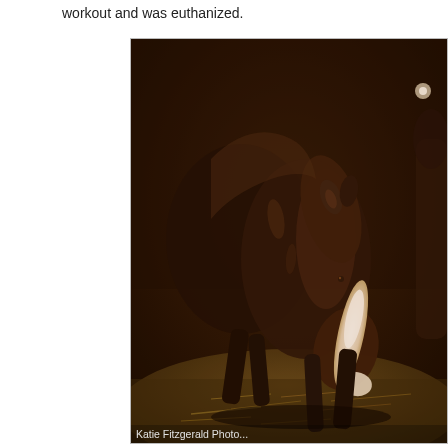workout and was euthanized.
[Figure (photo): A newborn foal (baby horse) with a dark brown coat and white blaze marking on its face, standing in a stable with hay on the ground. The image has a warm sepia-toned quality. Photo credit: Katie Fitzgerald Photo.]
Katie Fitzgerald Photo...